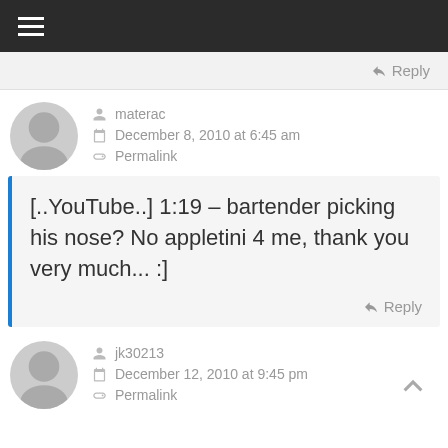☰ (hamburger menu icon)
Reply
materac
December 8, 2010 at 6:45 am
Permalink
[..YouTube..] 1:19 – bartender picking his nose? No appletini 4 me, thank you very much... :]
Reply
jk30213
December 12, 2010 at 9:45 pm
Permalink